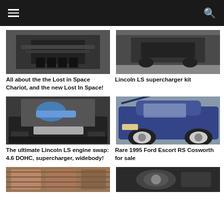Navigation bar with hamburger menu and search icon
[Figure (photo): Black and white photo of underside of a vehicle or space vehicle]
[Figure (photo): Dark colored car photographed from front/side low angle]
All about the the Lost in Space Chariot, and the new Lost In Space!
Lincoln LS supercharger kit
[Figure (photo): Black sports car with hood open showing turbo engine with blue intake]
[Figure (photo): Blue Ford Escort RS Cosworth with hood open, white wheels]
The ultimate Lincoln LS engine swap: 4.6 DOHC, supercharger, widebody!
Rare 1995 Ford Escort RS Cosworth for sale
[Figure (photo): Partially visible car image at bottom left, reddish/brown tones]
[Figure (photo): Partially visible car interior/detail at bottom right, dark tones]